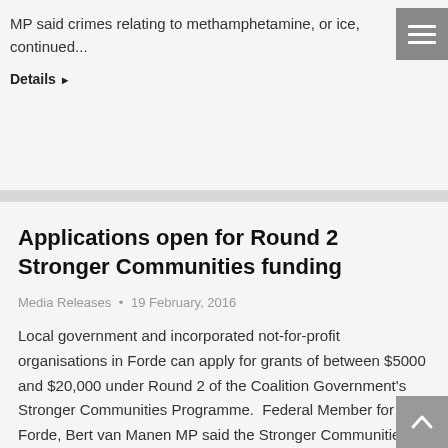MP said crimes relating to methamphetamine, or ice, continued...
Details ▶
Applications open for Round 2 Stronger Communities funding
Media Releases • 19 February, 2016
Local government and incorporated not-for-profit organisations in Forde can apply for grants of between $5000 and $20,000 under Round 2 of the Coalition Government's Stronger Communities Programme.  Federal Member for Forde, Bert van Manen MP said the Stronger Communities Programme was about funding small capital projects that would deliver social benefits to the region.